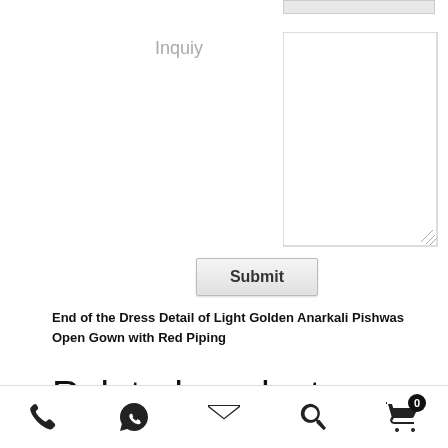Inquiy
[Figure (screenshot): A textarea input field for inquiry text, empty, with resize handle in bottom-right corner]
Submit
End of the Dress Detail of Light Golden Anarkali Pishwas Open Gown with Red Piping
Related products
[Figure (screenshot): Bottom navigation toolbar with icons: phone, WhatsApp, email/envelope, search/magnifying glass, and shopping cart with badge showing 0]